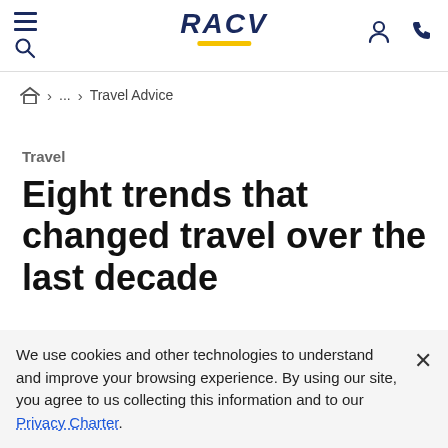RACV
⌂ > ... > Travel Advice
Travel
Eight trends that changed travel over the last decade
Michael Gebicki
We use cookies and other technologies to understand and improve your browsing experience. By using our site, you agree to us collecting this information and to our Privacy Charter.